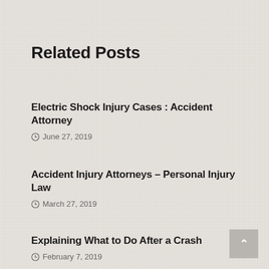Related Posts
Electric Shock Injury Cases : Accident Attorney
June 27, 2019
Accident Injury Attorneys – Personal Injury Law
March 27, 2019
Explaining What to Do After a Crash
February 7, 2019